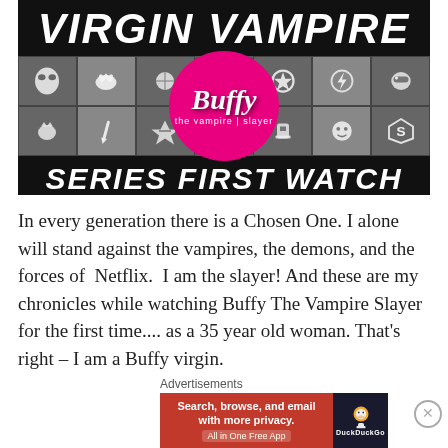[Figure (illustration): Virgin Vampire Series First Watch banner. Black background with bold white italic text 'VIRGIN VAMPIRE' on top and 'SERIES FIRST WATCH' on bottom. Center grid of superhero/pop-culture icons in gray tones. Overlaid large pink/magenta circle with Buffy The Vampire Slayer logo in white script.]
In every generation there is a Chosen One. I alone will stand against the vampires, the demons, and the forces of Netflix. I am the slayer! And these are my chronicles while watching Buffy The Vampire Slayer for the first time.... as a 35 year old woman. That's right – I am a Buffy virgin.
Advertisements
[Figure (screenshot): DuckDuckGo advertisement banner. Left orange/red section reads 'Search, browse, and email with more privacy. All in One Free App'. Right dark section shows DuckDuckGo duck logo and brand name.]